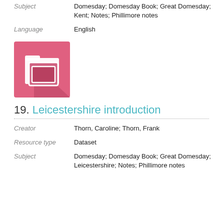Subject: Domesday; Domesday Book; Great Domesday; Kent; Notes; Phillimore notes
Language: English
[Figure (illustration): Pink square folder icon with white folder graphic and diagonal shadow]
19. Leicestershire introduction
Creator: Thorn, Caroline; Thorn, Frank
Resource type: Dataset
Subject: Domesday; Domesday Book; Great Domesday; Leicestershire; Notes; Phillimore notes